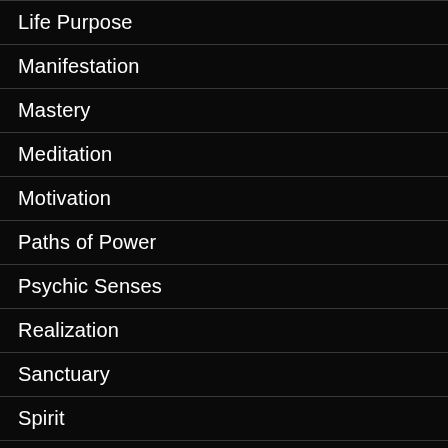Life Purpose
Manifestation
Mastery
Meditation
Motivation
Paths of Power
Psychic Senses
Realization
Sanctuary
Spirit
Truth
Uncategorized
Unlimited Mind